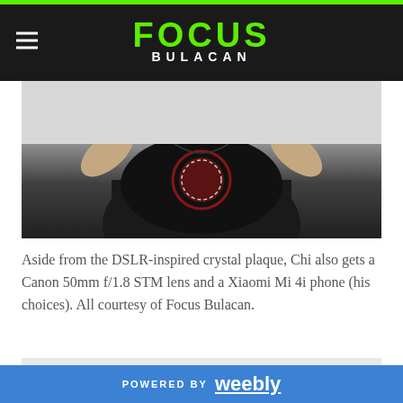FOCUS BULACAN
[Figure (photo): Person wearing a black sleeveless shirt with a graphic, arms raised, photographed from chest up against a light background.]
Aside from the DSLR-inspired crystal plaque, Chi also gets a Canon 50mm f/1.8 STM lens and a Xiaomi Mi 4i phone (his choices). All courtesy of Focus Bulacan.
[Figure (photo): Partial view of photo at bottom of page, light gray background with object partially visible.]
POWERED BY weebly